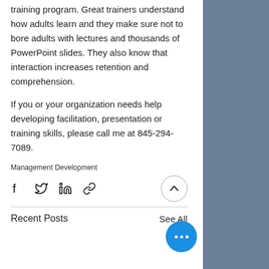training program. Great trainers understand how adults learn and they make sure not to bore adults with lectures and thousands of PowerPoint slides. They also know that interaction increases retention and comprehension.
If you or your organization needs help developing facilitation, presentation or training skills, please call me at 845-294-7089.
Management Development
[Figure (infographic): Social share icons: Facebook, Twitter, LinkedIn, link/chain icon, and an up-arrow button in a circle]
Recent Posts
See All
[Figure (photo): Dark blue-grey background image on the right side, partially showing a mug or cup]